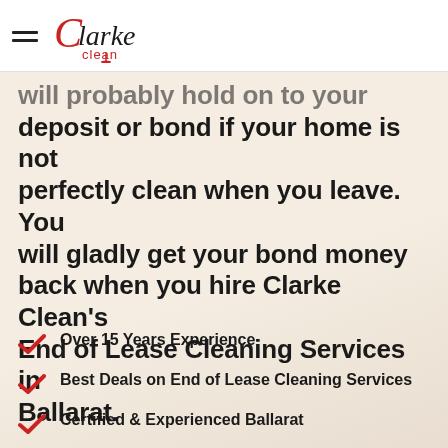Clarke Clean (logo)
will probably hold on to your deposit or bond if your home is not perfectly clean when you leave. You will gladly get your bond money back when you hire Clarke Clean's End of Lease Cleaning Services in Ballarat.
Over 15 Years Experience
Best Deals on End of Lease Cleaning Services
Certified & Experienced Ballarat